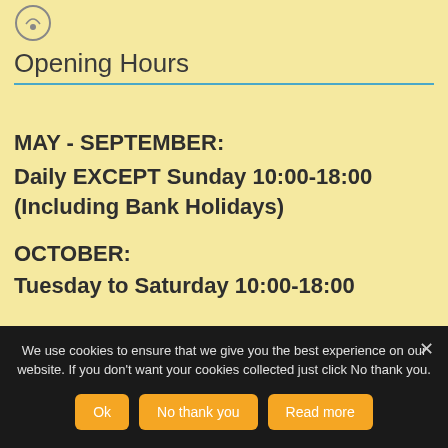[Figure (logo): Circular logo icon in top left corner]
Opening Hours
MAY - SEPTEMBER:
Daily EXCEPT Sunday 10:00-18:00 (Including Bank Holidays)
OCTOBER:
Tuesday to Saturday 10:00-18:00
We use cookies to ensure that we give you the best experience on our website. If you don't want your cookies collected just click No thank you.